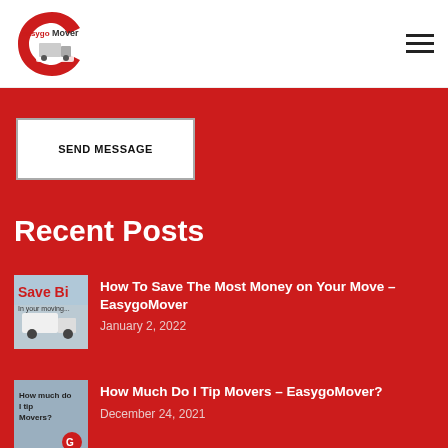[Figure (logo): EasygoMover logo with red C shape and moving truck graphic, text reading 'easygoMover']
[Figure (illustration): Hamburger menu icon (three horizontal lines)]
SEND MESSAGE
Recent Posts
[Figure (photo): Thumbnail image with text 'Save Bi' and a moving truck, for post about saving money on your move]
How To Save The Most Money on Your Move – EasygoMover
January 2, 2022
[Figure (photo): Thumbnail image with text 'How much do I tip Movers?' with EasygoMover branding]
How Much Do I Tip Movers – EasygoMover?
December 24, 2021